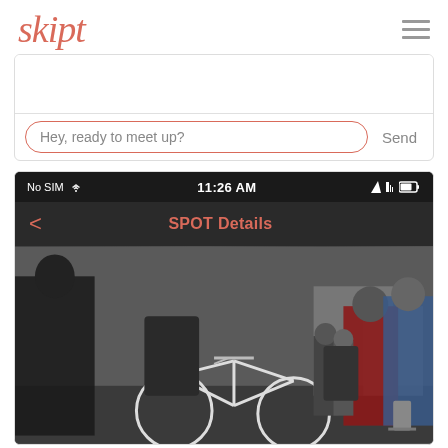[Figure (screenshot): Skipt app logo header with hamburger menu icon]
[Figure (screenshot): Mobile app chat interface screenshot showing a message input field with placeholder text 'Hey, ready to meet up?' and a Send button]
[Figure (screenshot): Mobile app screenshot showing 'SPOT Details' navigation bar with status bar (No SIM, 11:26 AM) and a photo of bicycles and crowd of people]